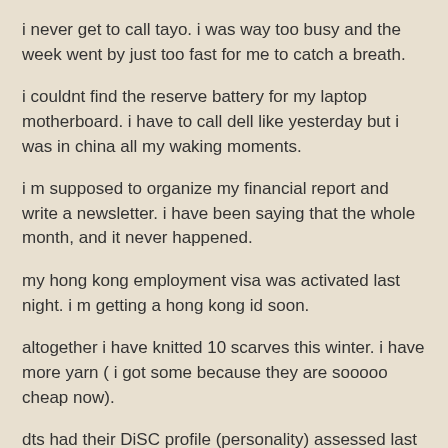i never get to call tayo. i was way too busy and the week went by just too fast for me to catch a breath.
i couldnt find the reserve battery for my laptop motherboard. i have to call dell like yesterday but i was in china all my waking moments.
i m supposed to organize my financial report and write a newsletter. i have been saying that the whole month, and it never happened.
my hong kong employment visa was activated last night. i m getting a hong kong id soon.
altogether i have knitted 10 scarves this winter. i have more yarn ( i got some because they are sooooo cheap now).
dts had their DiSC profile (personality) assessed last week. fun for them. ive done it twice last year. next week the speaker is going to do staff development with the staff. looking forward to a really busy week.